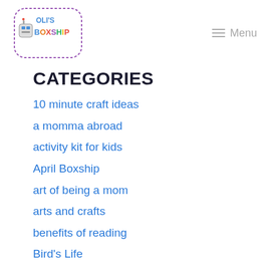Oli's Boxship logo + Menu
CATEGORIES
10 minute craft ideas
a momma abroad
activity kit for kids
April Boxship
art of being a mom
arts and crafts
benefits of reading
Bird's Life
Blog
blog post
blog review
bonding
children's party ideas